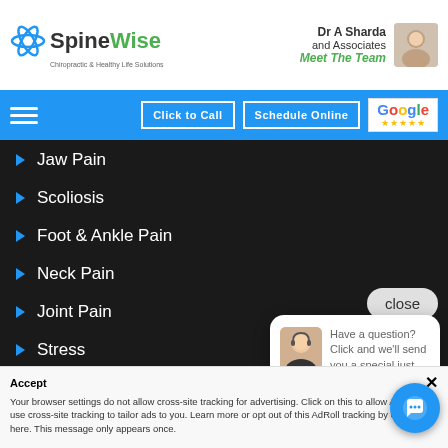[Figure (screenshot): SpineWise website header with logo, Dr A Sharda and Associates info, Meet The Team link, navigation bar with Click to Call, Schedule Online, and Google review buttons]
Jaw Pain
Scoliosis
Foot & Ankle Pain
Neck Pain
Joint Pain
Stress
Knee Pain
Sciatica
Shoulder & Arm P...
Carpal Tunnel Syndrome
close
Have a question? Click and we'll send you a special just for asking!
Back Pain
Accept
Your browser settings do not allow cross-site tracking for advertising. Click on this to allow AdRoll to use cross-site tracking to tailor ads to you. Learn more or opt out of this AdRoll tracking by clicking here. This message only appears once.